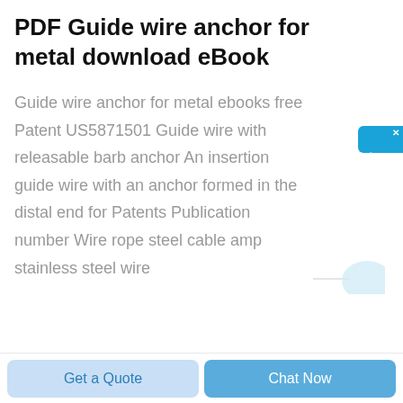PDF Guide wire anchor for metal download eBook
Guide wire anchor for metal ebooks free Patent US5871501 Guide wire with releasable barb anchor An insertion guide wire with an anchor formed in the distal end for Patents Publication number Wire rope steel cable amp stainless steel wire
[Figure (other): Chinese online chat support widget with blue background showing characters 在线咨询 (online consultation) with a close button]
[Figure (logo): Faint watermark logo in bottom right area of main content]
Get a Quote
Chat Now